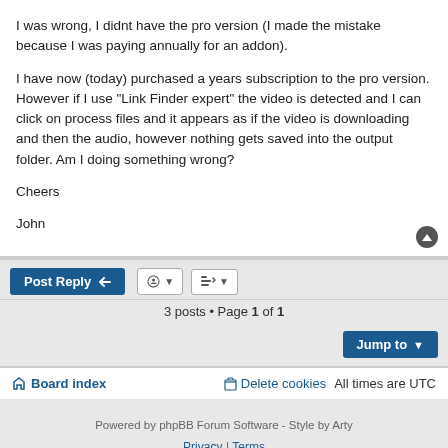I was wrong, I didnt have the pro version (I made the mistake because I was paying annually for an addon).

I have now (today) purchased a years subscription to the pro version. However if I use "Link Finder expert" the video is detected and I can click on process files and it appears as if the video is downloading and then the audio, however nothing gets saved into the output folder. Am I doing something wrong?

Cheers

John
3 posts • Page 1 of 1
Board index   Delete cookies   All times are UTC
Powered by phpBB Forum Software - Style by Arty
Privacy | Terms